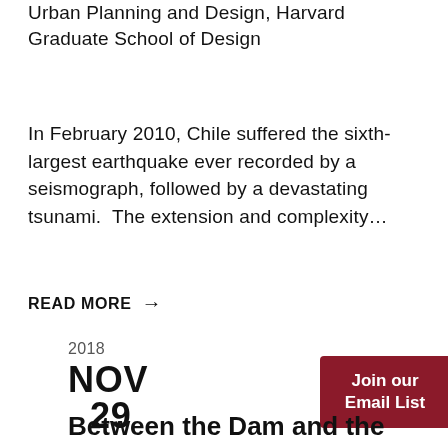Urban Planning and Design, Harvard Graduate School of Design
In February 2010, Chile suffered the sixth-largest earthquake ever recorded by a seismograph, followed by a devastating tsunami.  The extension and complexity...
READ MORE →
2018
NOV
29
Between the Dam and the Text - An Eco-critical
Join our Email List